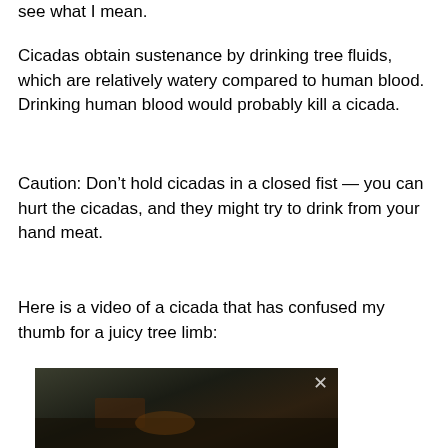see what I mean.
Cicadas obtain sustenance by drinking tree fluids, which are relatively watery compared to human blood. Drinking human blood would probably kill a cicada.
Caution: Don’t hold cicadas in a closed fist — you can hurt the cicadas, and they might try to drink from your hand meat.
Here is a video of a cicada that has confused my thumb for a juicy tree limb:
[Figure (screenshot): Dark video thumbnail showing a close-up of a hand/thumb with a cicada, with a close (X) button in the upper right corner]